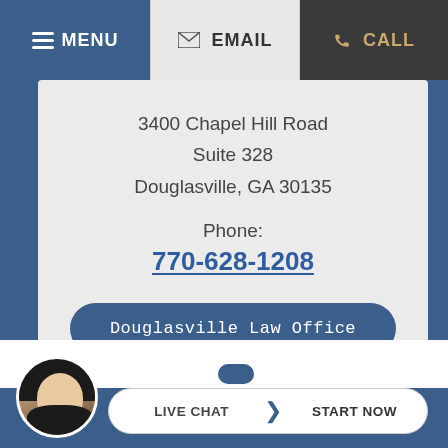MENU | EMAIL | CALL
3400 Chapel Hill Road
Suite 328
Douglasville, GA 30135
Phone:
770-628-1208
Douglasville Law Office
[Figure (photo): Smiling woman avatar photo used for live chat widget]
LIVE CHAT  START NOW